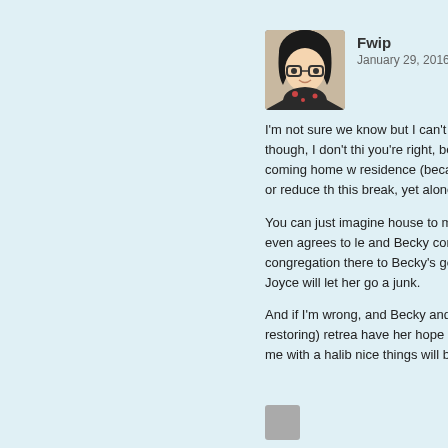[Figure (illustration): Cartoon avatar of a person with dark hair, glasses, wearing a dark top with floral pattern]
Fwip
January 29, 2016 at 1:27
I'm not sure we know but I can't imagine the not, though, I don't thi you're right, because Becky coming home w residence (because w minimize or reduce th this break, yet alone r
You can just imagine house to make sure B she even agrees to le and Becky coming ho congregation there to Becky's going to try a Joyce will let her go a junk.
And if I'm wrong, and Becky and this break faith-restoring) retrea have her hope and lo smack me with a halib nice things will be hap